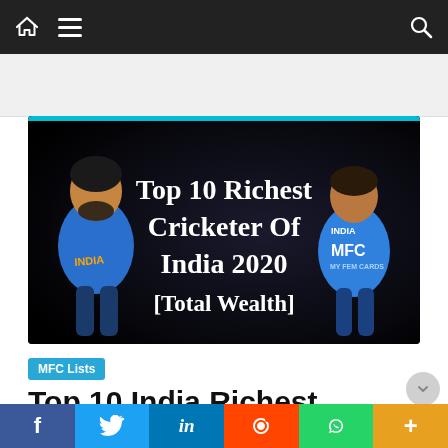Navigation bar with home, menu, and search icons
[Figure (illustration): Hero image with black background showing two Indian cricket players in blue jerseys with text 'Top 10 Richest Cricketer Of India 2020 [Total Wealth]']
MFC Lists
Top 10 India Richest
Social share bar: f, Twitter, in, Reddit, WhatsApp, More